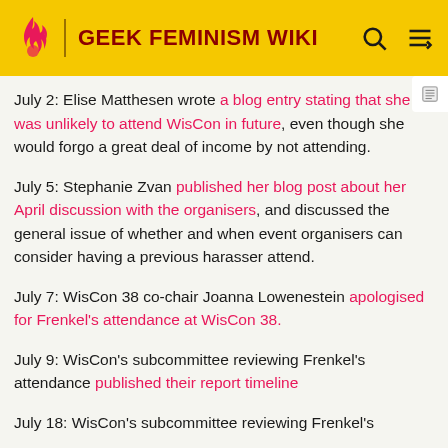GEEK FEMINISM WIKI
July 2: Elise Matthesen wrote a blog entry stating that she was unlikely to attend WisCon in future, even though she would forgo a great deal of income by not attending.
July 5: Stephanie Zvan published her blog post about her April discussion with the organisers, and discussed the general issue of whether and when event organisers can consider having a previous harasser attend.
July 7: WisCon 38 co-chair Joanna Lowenestein apologised for Frenkel's attendance at WisCon 38.
July 9: WisCon's subcommittee reviewing Frenkel's attendance published their report timeline
July 18: WisCon's subcommittee reviewing Frenkel's